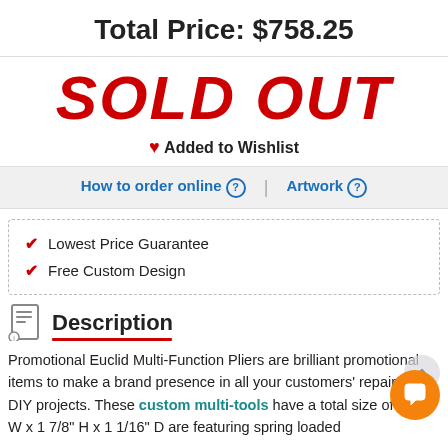Total Price: $758.25
SOLD OUT
❤ Added to Wishlist
How to order online ? | Artwork ?
✔ Lowest Price Guarantee
✔ Free Custom Design
Description
Promotional Euclid Multi-Function Pliers are brilliant promotional items to make a brand presence in all your customers' repair and DIY projects. These custom multi-tools have a total size of 3 7/8" W x 1 7/8" H x 1 1/16" D are featuring spring loaded